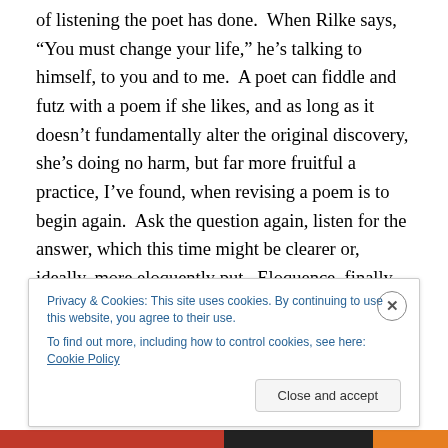of listening the poet has done.  When Rilke says, “You must change your life,” he’s talking to himself, to you and to me.  A poet can fiddle and futz with a poem if she likes, and as long as it doesn’t fundamentally alter the original discovery, she’s doing no harm, but far more fruitful a practice, I’ve found, when revising a poem is to begin again.  Ask the question again, listen for the answer, which this time might be clearer or, ideally, more eloquently put.  Eloquence, finally, is the mastery of the art of poetry, where the discoveries are done, the theory of poetry made law, and what remains is, as Wallace Stevens puts it,
Privacy & Cookies: This site uses cookies. By continuing to use this website, you agree to their use.
To find out more, including how to control cookies, see here: Cookie Policy
Close and accept